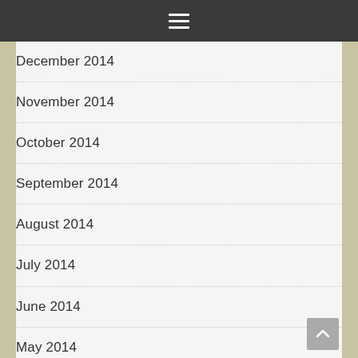☰
December 2014
November 2014
October 2014
September 2014
August 2014
July 2014
June 2014
May 2014
April 2014
March 2014